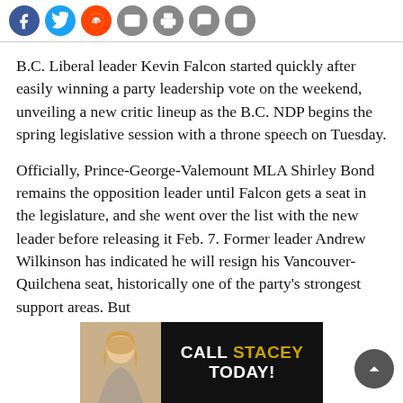[Figure (other): Social media share icons row: Facebook (blue), Twitter (blue), Reddit (orange), Email (grey), Print (grey), Comment (grey), Image (grey)]
B.C. Liberal leader Kevin Falcon started quickly after easily winning a party leadership vote on the weekend, unveiling a new critic lineup as the B.C. NDP begins the spring legislative session with a throne speech on Tuesday.
Officially, Prince-George-Valemount MLA Shirley Bond remains the opposition leader until Falcon gets a seat in the legislature, and she went over the list with the new leader before releasing it Feb. 7. Former leader Andrew Wilkinson has indicated he will resign his Vancouver-Quilchena seat, historically one of the party’s strongest support areas. But
[Figure (photo): Advertisement banner: black background with a woman photo on the left and text 'CALL STACEY TODAY!' in white and gold on the right]